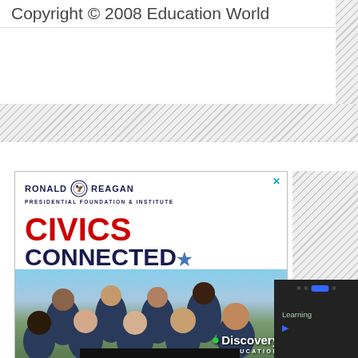Copyright © 2008 Education World
[Figure (illustration): Hatched/diagonal stripe background band across the page, indicating a sidebar or ad region]
[Figure (illustration): Ronald Reagan Presidential Foundation & Institute advertisement featuring 'CIVICS CONNECTED' text with a group photo of diverse students wearing navy blue shirts, Discovery Education logo at bottom right]
[Figure (screenshot): Dark panel on the right side showing a partial screenshot of a digital learning interface with 'Learning' text and blue navigation elements]